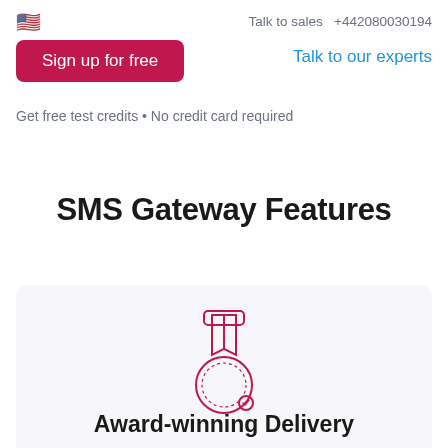Talk to sales +442080030194
Sign up for free
Talk to our experts
Get free test credits • No credit card required
SMS Gateway Features
[Figure (illustration): Award medal icon outlined in red/pink, showing a ribbon at top and a circular medal with dotted border below]
Award-winning Delivery